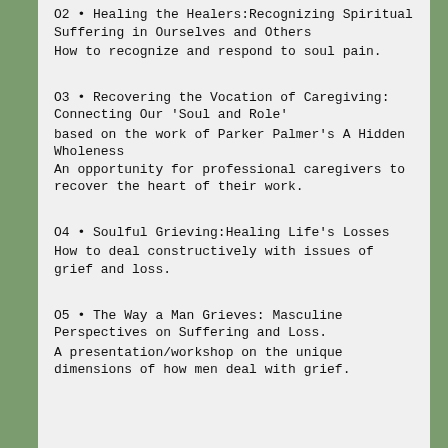02 • Healing the Healers:Recognizing Spiritual Suffering in Ourselves and Others
How to recognize and respond to soul pain.
03 • Recovering the Vocation of Caregiving: Connecting Our 'Soul and Role'
based on the work of Parker Palmer's A Hidden Wholeness
An opportunity for professional caregivers to recover the heart of their work.
04 • Soulful Grieving:Healing Life's Losses
How to deal constructively with issues of grief and loss.
05 • The Way a Man Grieves: Masculine Perspectives on Suffering and Loss.
A presentation/workshop on the unique dimensions of how men deal with grief.